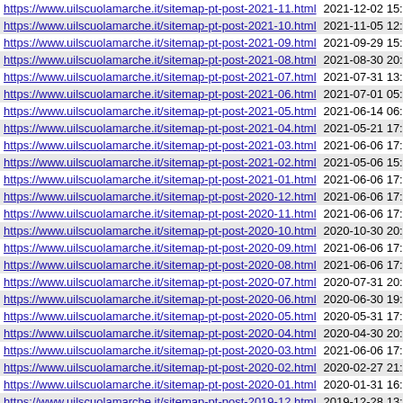| URL | Last Modified |
| --- | --- |
| https://www.uilscuolamarche.it/sitemap-pt-post-2021-11.html | 2021-12-02 15:55 |
| https://www.uilscuolamarche.it/sitemap-pt-post-2021-10.html | 2021-11-05 12:17 |
| https://www.uilscuolamarche.it/sitemap-pt-post-2021-09.html | 2021-09-29 15:13 |
| https://www.uilscuolamarche.it/sitemap-pt-post-2021-08.html | 2021-08-30 20:01 |
| https://www.uilscuolamarche.it/sitemap-pt-post-2021-07.html | 2021-07-31 13:57 |
| https://www.uilscuolamarche.it/sitemap-pt-post-2021-06.html | 2021-07-01 05:37 |
| https://www.uilscuolamarche.it/sitemap-pt-post-2021-05.html | 2021-06-14 06:46 |
| https://www.uilscuolamarche.it/sitemap-pt-post-2021-04.html | 2021-05-21 17:15 |
| https://www.uilscuolamarche.it/sitemap-pt-post-2021-03.html | 2021-06-06 17:27 |
| https://www.uilscuolamarche.it/sitemap-pt-post-2021-02.html | 2021-05-06 15:22 |
| https://www.uilscuolamarche.it/sitemap-pt-post-2021-01.html | 2021-06-06 17:27 |
| https://www.uilscuolamarche.it/sitemap-pt-post-2020-12.html | 2021-06-06 17:26 |
| https://www.uilscuolamarche.it/sitemap-pt-post-2020-11.html | 2021-06-06 17:26 |
| https://www.uilscuolamarche.it/sitemap-pt-post-2020-10.html | 2020-10-30 20:18 |
| https://www.uilscuolamarche.it/sitemap-pt-post-2020-09.html | 2021-06-06 17:26 |
| https://www.uilscuolamarche.it/sitemap-pt-post-2020-08.html | 2021-06-06 17:08 |
| https://www.uilscuolamarche.it/sitemap-pt-post-2020-07.html | 2020-07-31 20:43 |
| https://www.uilscuolamarche.it/sitemap-pt-post-2020-06.html | 2020-06-30 19:35 |
| https://www.uilscuolamarche.it/sitemap-pt-post-2020-05.html | 2020-05-31 17:49 |
| https://www.uilscuolamarche.it/sitemap-pt-post-2020-04.html | 2020-04-30 20:51 |
| https://www.uilscuolamarche.it/sitemap-pt-post-2020-03.html | 2021-06-06 17:07 |
| https://www.uilscuolamarche.it/sitemap-pt-post-2020-02.html | 2020-02-27 21:41 |
| https://www.uilscuolamarche.it/sitemap-pt-post-2020-01.html | 2020-01-31 16:18 |
| https://www.uilscuolamarche.it/sitemap-pt-post-2019-12.html | 2019-12-28 13:45 |
| https://www.uilscuolamarche.it/sitemap-pt-post-2019-11.html | 2019-11-29 21:50 |
| https://www.uilscuolamarche.it/sitemap-pt-post-2019-10.html | 2019-10-31 12:15 |
| https://www.uilscuolamarche.it/sitemap-pt-post-2019-09.html | 2019-09-24 08:34 |
| https://www.uilscuolamarche.it/sitemap-pt-post-2019-08.html | 2019-08-31 18:47 |